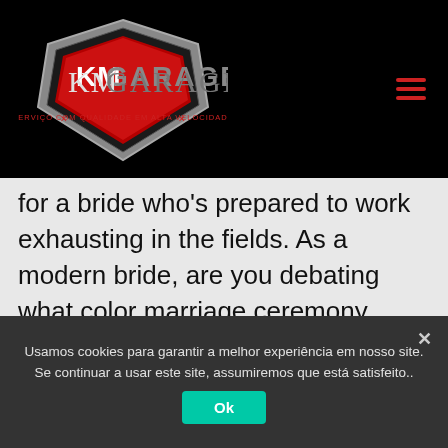[Figure (logo): KM Garage logo — red and silver shield emblem with 'KM GARAGE' text and tagline 'SERVIÇO COM QUALIDADE EM ALTA VELOCIDADE' on a black header bar with hamburger menu icon on the right]
for a bride who's prepared to work exhausting in the fields. As a modern bride, are you debating what color marriage ceremony costume you need to wear in your big day? Traditionally, brides wear white marriage ceremony dresses in western culture and purple in Chinese culture, however these are not the one color
Usamos cookies para garantir a melhor experiência em nosso site. Se continuar a usar este site, assumiremos que está satisfeito..
Ok